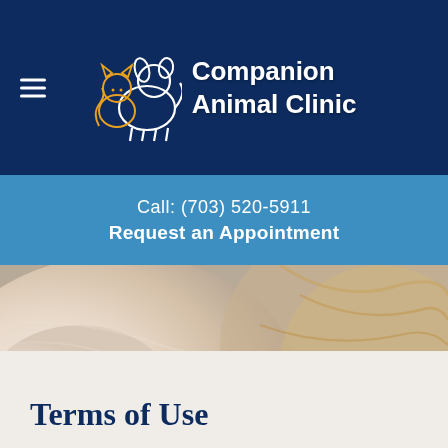Companion Animal Clinic
Call: (703) 520-5911
Request an Appointment
[Figure (photo): Close-up photo of a sleeping white/orange cat with pink nose and fur detail; overlaid with semi-transparent text 'Other Info']
Terms of Use